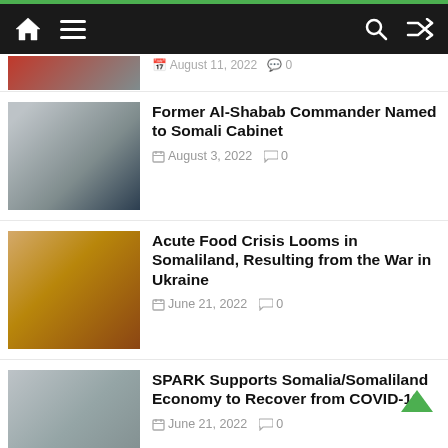Navigation bar with home, menu, search, and shuffle icons
[Figure (photo): Partially visible news article thumbnail - top of page]
August 11, 2022   0
[Figure (photo): Former Al-Shabab Commander Named to Somali Cabinet - photo of man in traditional headwear]
Former Al-Shabab Commander Named to Somali Cabinet
August 3, 2022   0
[Figure (photo): Acute Food Crisis Looms in Somaliland - photo of person on cracked dry earth]
Acute Food Crisis Looms in Somaliland, Resulting from the War in Ukraine
June 21, 2022   0
[Figure (photo): SPARK Supports Somalia/Somaliland Economy - photo of women in shop]
SPARK Supports Somalia/Somaliland Economy to Recover from COVID-19
June 21, 2022   0
[Figure (photo): Ethiopia Arrests 34 Al-Shabaab Members - dark thumbnail with Amharic text]
Ethiopia Arrests 34 Al-Shabaab Members Planning Attacks in Addis